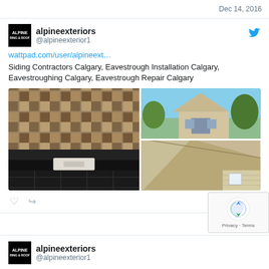Dec 14, 2016
alpineexteriors
@alpineexterior1
wattpad.com/user/alpineext…
Siding Contractors Calgary, Eavestrough Installation Calgary, Eavestroughing Calgary, Eavestrough Repair Calgary
[Figure (photo): Three-panel image grid: left panel shows a modern bathroom interior with wood tile walls and a white sink; top-right shows a stone house exterior with trees; bottom-right shows rooftop shingles and siding of a house.]
alpineexteriors
@alpineexterior1